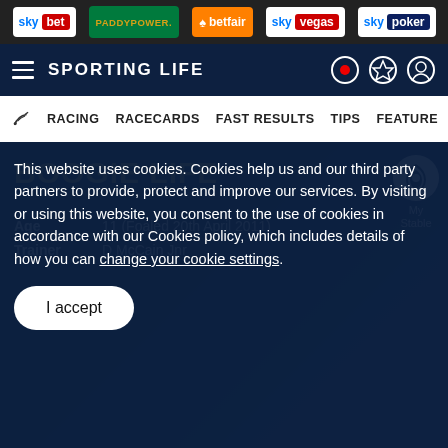sky bet | PADDYPOWER. | betfair | sky vegas | sky poker
SPORTING LIFE
RACING  RACECARDS  FAST RESULTS  TIPS  FEATURES
BOOGIE LIFE
Age  11 (Foaled 20th April 2011)
Trainer  D McCain Jnr
My Stable
This website uses cookies. Cookies help us and our third party partners to provide, protect and improve our services. By visiting or using this website, you consent to the use of cookies in accordance with our Cookies policy, which includes details of how you can change your cookie settings.
I accept